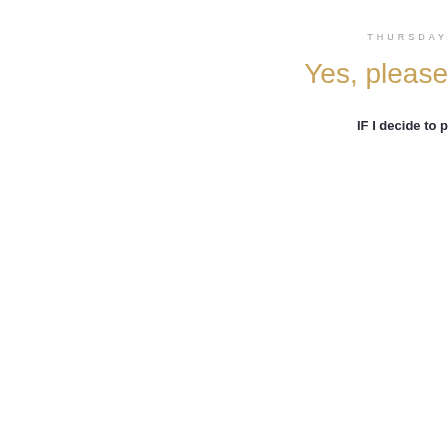THURSDAY
Yes, please
IF I decide to p